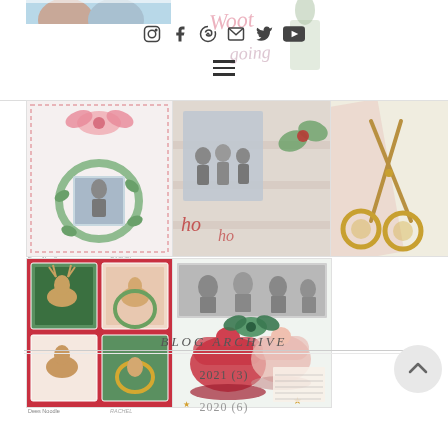[Figure (photo): Partial photo of children at top left corner]
[Figure (photo): Decorative pink script/watercolor text top right area]
[Figure (photo): Social media icons row: Instagram, Facebook, Pinterest, Email, Twitter, YouTube]
[Figure (photo): Hamburger menu icon]
[Figure (photo): Scrapbook card with pink bow and Christmas wreath/greenery design, top left grid]
[Figure (photo): Scrapbook layout with Christmas gift wrap, scissors, and hohoho text, center-right]
[Figure (photo): Gold scissors on pink wrapping paper, far right]
[Figure (photo): Red and green Christmas cards with reindeer and deer, bottom left]
[Figure (photo): Christmas bells scrapbook layout with black and white family photo, bottom right]
Dees Noodle
RACHEL
Dees Noodle
RACHEL
BLOG ARCHIVE
2021 (3)
2020 (6)